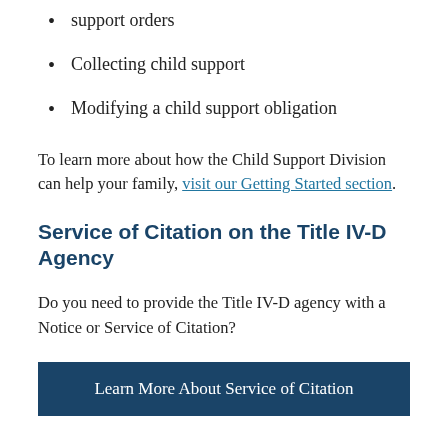support orders
Collecting child support
Modifying a child support obligation
To learn more about how the Child Support Division can help your family, visit our Getting Started section.
Service of Citation on the Title IV-D Agency
Do you need to provide the Title IV-D agency with a Notice or Service of Citation?
Learn More About Service of Citation